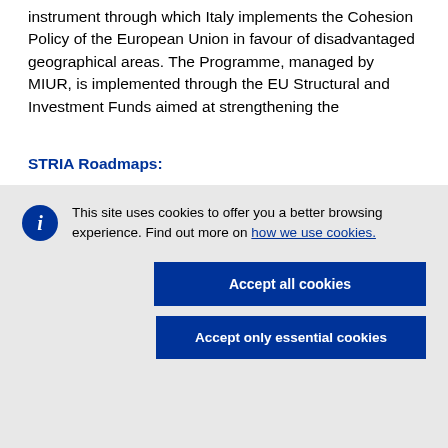instrument through which Italy implements the Cohesion Policy of the European Union in favour of disadvantaged geographical areas. The Programme, managed by MIUR, is implemented through the EU Structural and Investment Funds aimed at strengthening the
STRIA Roadmaps:
This site uses cookies to offer you a better browsing experience. Find out more on how we use cookies.
Accept all cookies
Accept only essential cookies